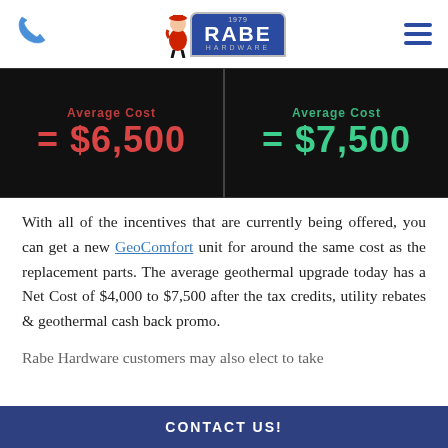Rabe Hardware — navigation header with phone icon, logo, and hamburger menu
[Figure (photo): Chalkboard showing 'Average Cost = $6,500' in red on left and 'Average Cost = $7,500' in green on right]
With all of the incentives that are currently being offered, you can get a new GeoComfort unit for around the same cost as the replacement parts.  The average geothermal upgrade today has a Net Cost of $4,000 to $7,500 after the tax credits, utility rebates & geothermal cash back promo.
Rabe Hardware customers may also elect to take
CONTACT US!